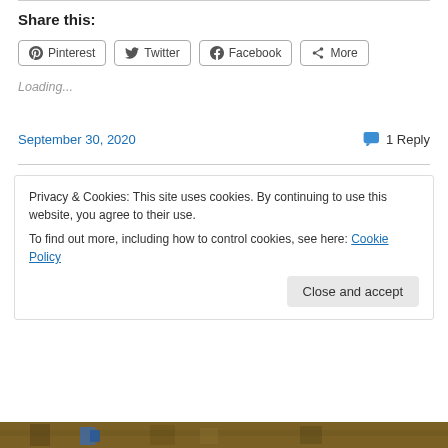Share this:
Pinterest  Twitter  Facebook  More
Loading...
September 30, 2020
1 Reply
Privacy & Cookies: This site uses cookies. By continuing to use this website, you agree to their use.
To find out more, including how to control cookies, see here: Cookie Policy
Close and accept
[Figure (photo): Bottom strip showing a photo of hay/straw with a blue jacket or item visible]